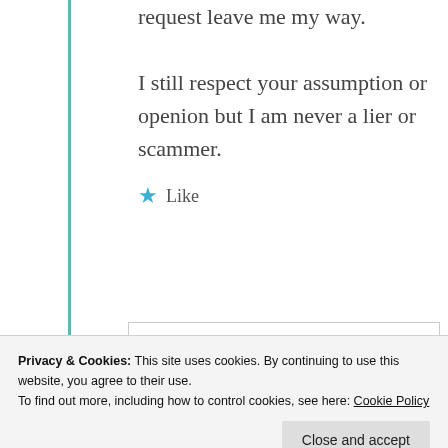request leave me my way. I still respect your assumption or openion but I am never a lier or scammer.
★ Like
[Figure (illustration): Circular golden avatar/badge icon with compass-rose or snowflake-like decorative pattern for user mildredprince welch]
mildredprince welch
Privacy & Cookies: This site uses cookies. By continuing to use this website, you agree to their use.
To find out more, including how to control cookies, see here: Cookie Policy
Close and accept
★ Like